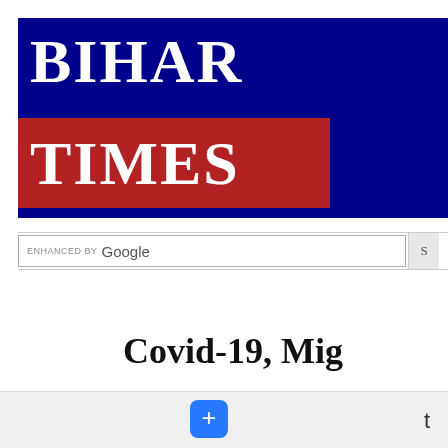[Figure (logo): Bihar Times newspaper logo: dark blue banner with 'BIHAR' in white serif text, and a red rectangle below with 'TIMES' in white serif text]
ENHANCED BY Google
Covid-19, Mig
Manish Thak